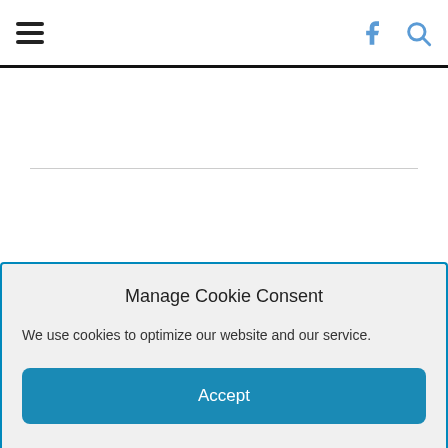hamburger menu | f search icons
Hector Amarante Cordova presents Tossing Songs Off The Mesa...
Crater Radio is Community Radio from the Colorado Plateau. Bringing music, news, opinion, and cultural currents from Northern Irezona and around the world. (All times US Mountain Standard Time)
Manage Cookie Consent
We use cookies to optimize our website and our service.
Accept